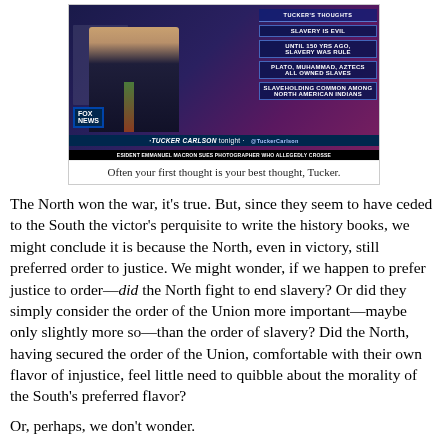[Figure (screenshot): Fox News Tucker Carlson Tonight screenshot showing Tucker Carlson with bullet points: SLAVERY IS EVIL, UNTIL 150 YRS AGO SLAVERY WAS RULE, PLATO MUHAMMAD AZTECS ALL OWNED SLAVES, SLAVEHOLDING COMMON AMONG NORTH AMERICAN INDIANS. Chyron reads: RESIDENT EMMANUEL MACRON SUES PHOTOGRAPHER WHO ALLEGEDLY CROSSE]
Often your first thought is your best thought, Tucker.
The North won the war, it's true. But, since they seem to have ceded to the South the victor's perquisite to write the history books, we might conclude it is because the North, even in victory, still preferred order to justice. We might wonder, if we happen to prefer justice to order—did the North fight to end slavery? Or did they simply consider the order of the Union more important—maybe only slightly more so—than the order of slavery? Did the North, having secured the order of the Union, comfortable with their own flavor of injustice, feel little need to quibble about the morality of the South's preferred flavor?
Or, perhaps, we don't wonder.